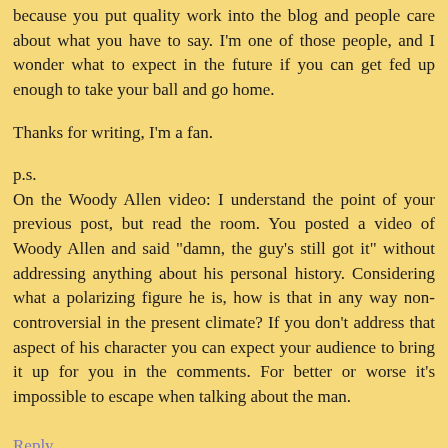because you put quality work into the blog and people care about what you have to say. I'm one of those people, and I wonder what to expect in the future if you can get fed up enough to take your ball and go home.
Thanks for writing, I'm a fan.
p.s.
On the Woody Allen video: I understand the point of your previous post, but read the room. You posted a video of Woody Allen and said "damn, the guy's still got it" without addressing anything about his personal history. Considering what a polarizing figure he is, how is that in any way non-controversial in the present climate? If you don't address that aspect of his character you can expect your audience to bring it up for you in the comments. For better or worse it's impossible to escape when talking about the man.
Reply
Oliver Pepper 12/04/2017 10:24 AM